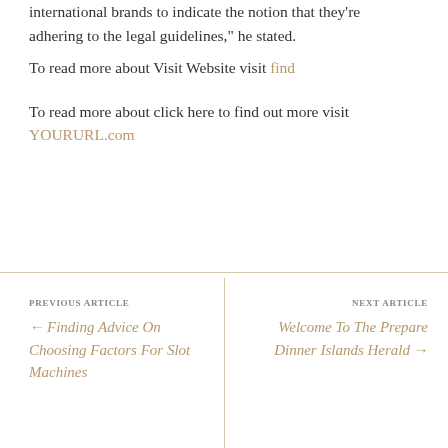international brands to indicate the notion that they're adhering to the legal guidelines," he stated. To read more about Visit Website visit find
To read more about click here to find out more visit YOURURL.com
PREVIOUS ARTICLE ← Finding Advice On Choosing Factors For Slot Machines
NEXT ARTICLE Welcome To The Prepare Dinner Islands Herald →